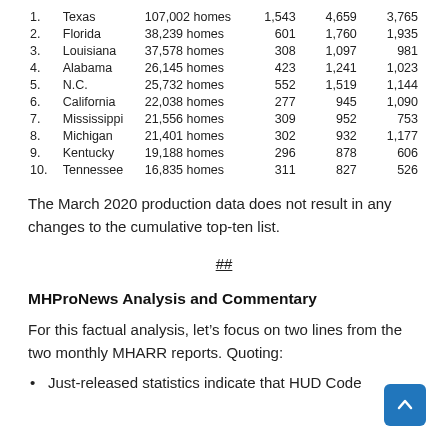| Rank | State | Homes | Col1 | Col2 | Col3 |
| --- | --- | --- | --- | --- | --- |
| 1. | Texas | 107,002 homes | 1,543 | 4,659 | 3,765 |
| 2. | Florida | 38,239 homes | 601 | 1,760 | 1,935 |
| 3. | Louisiana | 37,578 homes | 308 | 1,097 | 981 |
| 4. | Alabama | 26,145 homes | 423 | 1,241 | 1,023 |
| 5. | N.C. | 25,732 homes | 552 | 1,519 | 1,144 |
| 6. | California | 22,038 homes | 277 | 945 | 1,090 |
| 7. | Mississippi | 21,556 homes | 309 | 952 | 753 |
| 8. | Michigan | 21,401 homes | 302 | 932 | 1,177 |
| 9. | Kentucky | 19,188 homes | 296 | 878 | 606 |
| 10. | Tennessee | 16,835 homes | 311 | 827 | 526 |
The March 2020 production data does not result in any changes to the cumulative top-ten list.
##
MHProNews Analysis and Commentary
For this factual analysis, let’s focus on two lines from the two monthly MHARR reports. Quoting:
Just-released statistics indicate that HUD Code